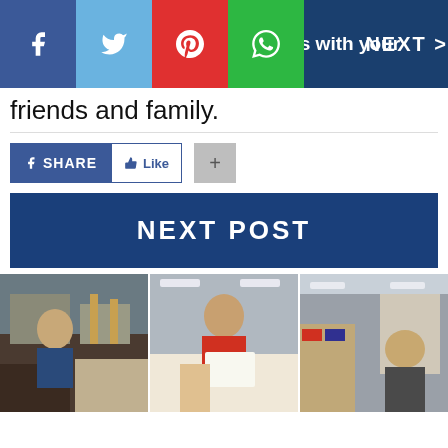[Figure (screenshot): Social media share bar with Facebook, Twitter, Pinterest, WhatsApp icons and NEXT > button, overlaid text: Please don't forget to SHARE this with your]
friends and family.
[Figure (screenshot): Facebook SHARE button, Facebook Like button, and a grey plus button]
[Figure (screenshot): NEXT POST button in dark blue]
[Figure (photo): Three panel image strip showing people at what appears to be a retail store checkout counter]